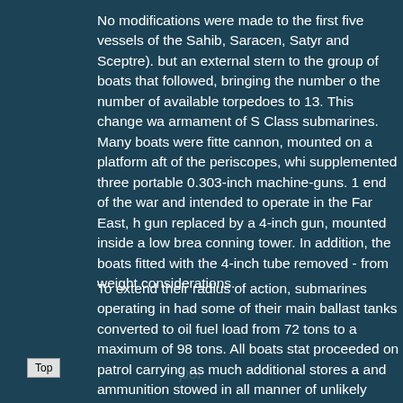No modifications were made to the first five vessels of the Sahib, Saracen, Satyr and Sceptre). but an external stern to the group of boats that followed, bringing the number of the number of available torpedoes to 13. This change was armament of S Class submarines. Many boats were fitted cannon, mounted on a platform aft of the periscopes, which supplemented three portable 0.303-inch machine-guns. 1 end of the war and intended to operate in the Far East, had gun replaced by a 4-inch gun, mounted inside a low breech conning tower. In addition, the boats fitted with the 4-inch tube removed - from weight considerations.
To extend their radius of action, submarines operating in had some of their main ballast tanks converted to oil fuel load from 72 tons to a maximum of 98 tons. All boats state proceeded on patrol carrying as much additional stores a and ammunition stowed in all manner of unlikely spaces placed under the Wardroom table, and shells were even s Naturally, this practice became a matter of some concern regulations were imposed on the stowage of ammunition temperature requirements), the rules were never complet